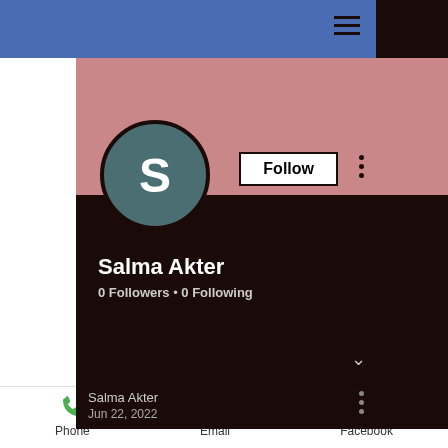[Figure (screenshot): Mobile app profile page for Salma Akter showing profile avatar with letter S, Follow button, 0 Followers 0 Following stats, and bottom navigation with Phone, Email, Facebook]
Salma Akter
0 Followers • 0 Following
Salma Akter
Jun 22, 2022
Phone
Email
Facebook